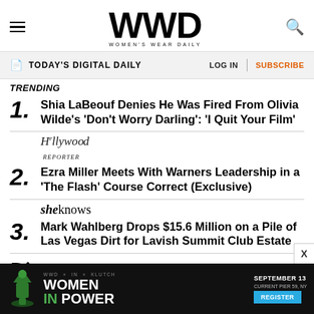WWD WOMEN'S WEAR DAILY
TODAY'S DIGITAL DAILY | LOG IN | SUBSCRIBE
TRENDING
1. Shia LaBeouf Denies He Was Fired From Olivia Wilde's 'Don't Worry Darling': 'I Quit Your Film'
2. Ezra Miller Meets With Warners Leadership in a 'The Flash' Course Correct (Exclusive)
3. Mark Wahlberg Drops $15.6 Million on a Pile of Las Vegas Dirt for Lavish Summit Club Estate
[Figure (logo): Dirt logo in italic script]
[Figure (infographic): WWD x IN x KLUTCH Women in Power advertisement banner. September 13, Current Pier 59, NY. Register button.]